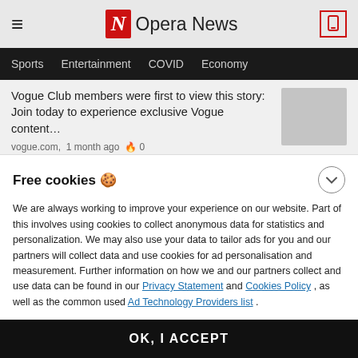Opera News
Sports  Entertainment  COVID  Economy
Vogue Club members were first to view this story: Join today to experience exclusive Vogue content…
vogue.com,  1 month ago  🔥 0
Kelly Rowland stops fans in their tracks with a major style look f…
Free cookies 🍪
We are always working to improve your experience on our website. Part of this involves using cookies to collect anonymous data for statistics and personalization. We may also use your data to tailor ads for you and our partners will collect data and use cookies for ad personalisation and measurement. Further information on how we and our partners collect and use data can be found in our Privacy Statement and Cookies Policy , as well as the common used Ad Technology Providers list .
OK, I ACCEPT